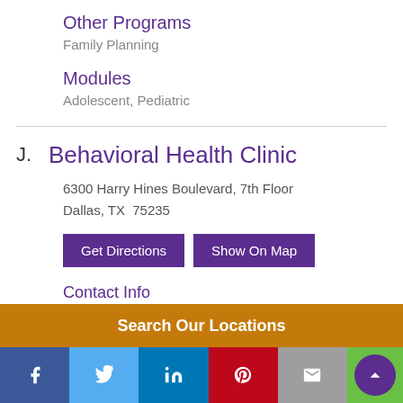Other Programs
Family Planning
Modules
Adolescent, Pediatric
J. Behavioral Health Clinic
6300 Harry Hines Boulevard, 7th Floor
Dallas, TX  75235
Get Directions   Show On Map
Contact Info
Main: 214-590-5536
Hours
Search Our Locations
f  Twitter  in  Pinterest  Mail  ^